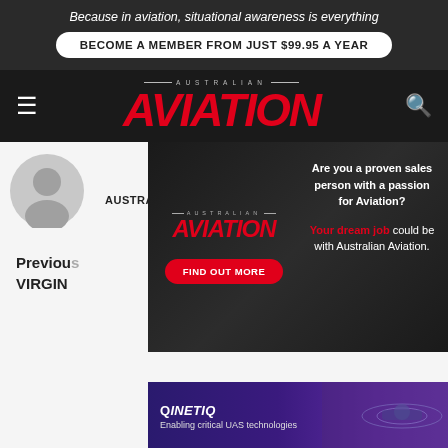Because in aviation, situational awareness is everything
BECOME A MEMBER FROM JUST $99.95 A YEAR
[Figure (logo): Australian Aviation logo with red italic AVIATION text and AUSTRALIAN in small caps above]
[Figure (illustration): Gray circular avatar/profile placeholder icon]
AUSTRALIANAVIATION.COM.AU
Previous
VIRGIN
ext Post
ERVICE
[Figure (infographic): Australian Aviation job ad overlay on dark background. Left side shows Australian Aviation logo and FIND OUT MORE red button. Right side shows text: Are you a proven sales person with a passion for Aviation? Your dream job could be with Australian Aviation.]
[Figure (infographic): QinetiQ banner at bottom showing logo name and tagline Enabling critical UAS technologies with drone imagery on right]